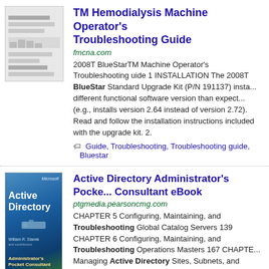[Figure (other): Thumbnail image of a document page with horizontal bar lines]
TM Hemodialysis Machine Operator's Troubleshooting Guide
fmcna.com
2008T BlueStarTM Machine Operator's Troubleshooting uide 1 INSTALLATION The 2008T BlueStar Standard Upgrade Kit (P/N 191137) installs a different functional software version than expected (e.g., installs version 2.64 instead of version 2.72). Read and follow the installation instructions included with the upgrade kit. 2.
Guide, Troubleshooting, Troubleshooting guide, Bluestar
[Figure (illustration): Active Directory Administrator's Pocket Consultant book cover - blue gradient with a USB drive image]
Active Directory Administrator's Pocket Consultant eBook
ptgmedia.pearsoncmg.com
CHAPTER 5 Configuring, Maintaining, and Troubleshooting Global Catalog Servers 139 CHAPTER 6 Configuring, Maintaining, and Troubleshooting Operations Masters 167 CHAPTER Managing Active Directory Sites, Subnets, and Replication 189 PART III MAINTAINING AND